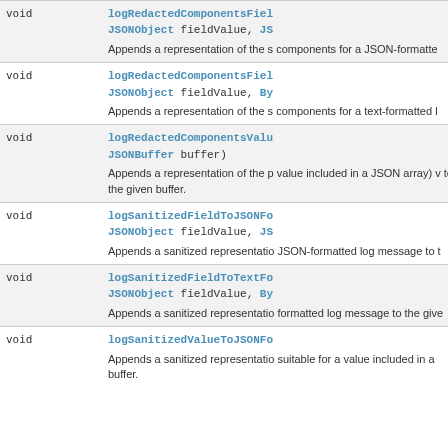| Type | Description |
| --- | --- |
| void | logRedactedComponentsField(JSONObject fieldValue, JS...
Appends a representation of the s... components for a JSON-formatte... |
| void | logRedactedComponentsField(JSONObject fieldValue, By...
Appends a representation of the s... components for a text-formatted l... |
| void | logRedactedComponentsValue(JSONBuffer buffer)
Appends a representation of the p... value included in a JSON array) v... to the given buffer. |
| void | logSanitizedFieldToJSONFo... (JSONObject fieldValue, JS...
Appends a sanitized representati... JSON-formatted log message to t... |
| void | logSanitizedFieldToTextFo... (JSONObject fieldValue, By...
Appends a sanitized representati... formatted log message to the give... |
| void | logSanitizedValueToJSONFo...
Appends a sanitized representati... suitable for a value included in a ... buffer. |